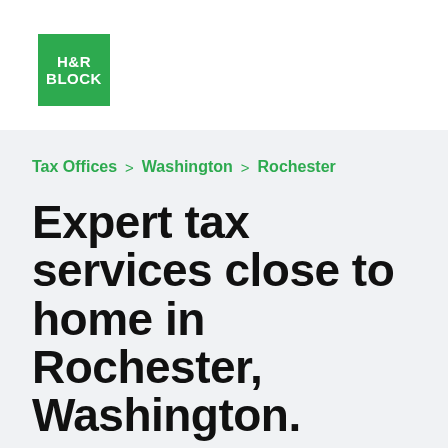[Figure (logo): H&R Block green square logo with white text reading H&R BLOCK]
Tax Offices > Washington > Rochester
Expert tax services close to home in Rochester, Washington.